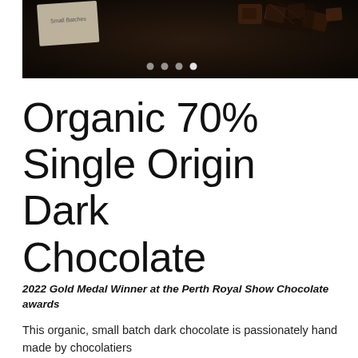[Figure (photo): Dark chocolate bar and wrapper on dark background with pagination dots]
Organic 70% Single Origin Dark Chocolate
2022 Gold Medal Winner at the Perth Royal Show Chocolate awards
This organic, small batch dark chocolate is passionately hand made by chocolatiers